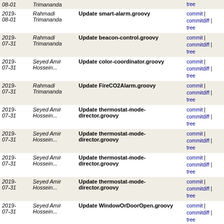| Date | Author | Message | Links |
| --- | --- | --- | --- |
| 2019-08-01 | Rahmadi Trimananda | Update smart-alarm.groovy | commit | commitdiff | tree |
| 2019-07-31 | Rahmadi Trimananda | Update beacon-control.groovy | commit | commitdiff | tree |
| 2019-07-31 | Seyed Amir Hossein... | Update color-coordinator.groovy | commit | commitdiff | tree |
| 2019-07-31 | Rahmadi Trimananda | Update FireCO2Alarm.groovy | commit | commitdiff | tree |
| 2019-07-31 | Seyed Amir Hossein... | Update thermostat-mode-director.groovy | commit | commitdiff | tree |
| 2019-07-31 | Seyed Amir Hossein... | Update thermostat-mode-director.groovy | commit | commitdiff | tree |
| 2019-07-31 | Seyed Amir Hossein... | Update thermostat-mode-director.groovy | commit | commitdiff | tree |
| 2019-07-31 | Seyed Amir Hossein... | Update thermostat-mode-director.groovy | commit | commitdiff | tree |
| 2019-07-31 | Seyed Amir Hossein... | Update WindowOrDoorOpen.groovy | commit | commitdiff | tree |
| 2019-07-30 | Seyed Amir Hossein... | Update keep-me-cozy.groovy | commit | commitdiff | tree |
| 2019-07-30 | Seyed Amir Hossein... | Update keep-me-cozy-ii.groovy | commit | commitdiff | tree |
| 2019-07-30 | Seyed Amir Hossein... | Update keep-me-cozy-ii.groovy | commit | commitdiff | tree |
| 2019-07-29 | Seyed Amir Hossein... | Update groveStreams.groovy | commit | commitdiff | tree |